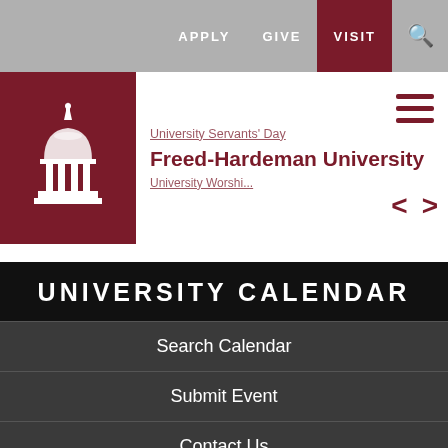[Figure (screenshot): Freed-Hardeman University website header with navigation bar showing APPLY, GIVE, VISIT (highlighted in dark red), and search icon]
Freed-Hardeman University
UNIVERSITY CALENDAR
Search Calendar
Submit Event
Contact Us
[Figure (screenshot): Calendar month navigation showing < Sep 2021 > selector and day-of-week header row S M T W T F S]